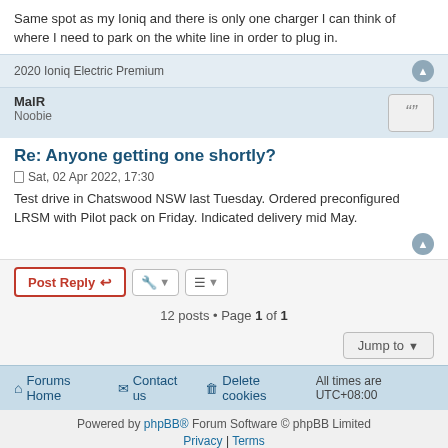Same spot as my Ioniq and there is only one charger I can think of where I need to park on the white line in order to plug in.
2020 Ioniq Electric Premium
MalR
Noobie
Re: Anyone getting one shortly?
Sat, 02 Apr 2022, 17:30
Test drive in Chatswood NSW last Tuesday. Ordered preconfigured LRSM with Pilot pack on Friday. Indicated delivery mid May.
Post Reply | Tools | Jump to | 12 posts • Page 1 of 1
Forums Home  Contact us  Delete cookies  All times are UTC+08:00
Powered by phpBB® Forum Software © phpBB Limited
Privacy | Terms